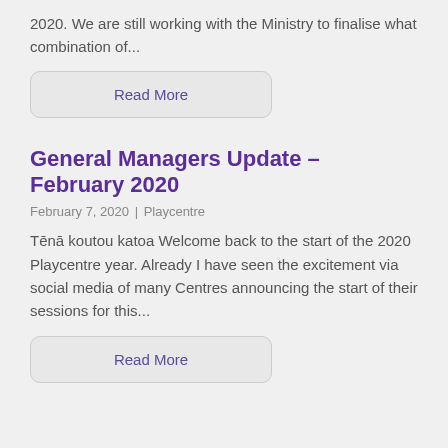2020. We are still working with the Ministry to finalise what combination of...
Read More
General Managers Update – February 2020
February 7, 2020 | Playcentre
Tēnā koutou katoa Welcome back to the start of the 2020 Playcentre year. Already I have seen the excitement via social media of many Centres announcing the start of their sessions for this...
Read More